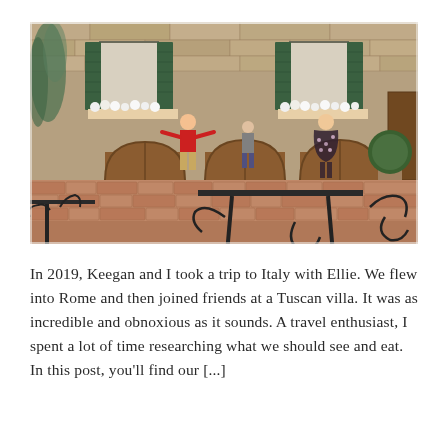[Figure (photo): A cobblestone piazza in a Tuscan hill town. Stone buildings with green shutters and wooden arched doors line the background. Three people are visible in the courtyard — a child in a red shirt with arms outstretched, a person in gray, and a woman in a floral dress. In the foreground are black wrought-iron cafe tables and chairs. Ivy grows on the left building.]
In 2019, Keegan and I took a trip to Italy with Ellie. We flew into Rome and then joined friends at a Tuscan villa. It was as incredible and obnoxious as it sounds. A travel enthusiast, I spent a lot of time researching what we should see and eat. In this post, you'll find our [...]